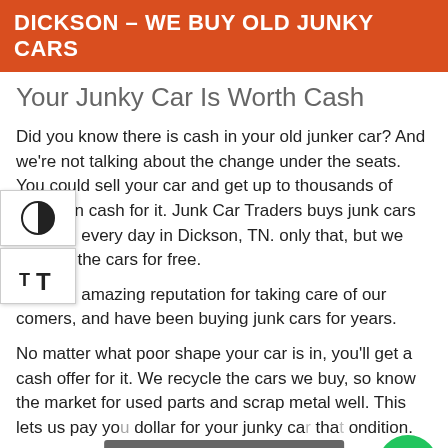DICKSON – WE BUY OLD JUNKY CARS
Your Junky Car Is Worth Cash
Did you know there is cash in your old junker car? And we're not talking about the change under the seats. You could sell your car and get up to thousands of dollars in cash for it. Junk Car Traders buys junk cars for cash every day in Dickson, TN. only that, but we remove the cars for free.
have an amazing reputation for taking care of our comers, and have been buying junk cars for years.
No matter what poor shape your car is in, you'll get a cash offer for it. We recycle the cars we buy, so know the market for used parts and scrap metal well. This lets us pay you dollar for your junky ca tha ondition.
[Figure (other): Call For A Quick Quote CTA button overlay]
[Figure (other): Green phone call button]
[Figure (logo): McAfee SECURE badge]